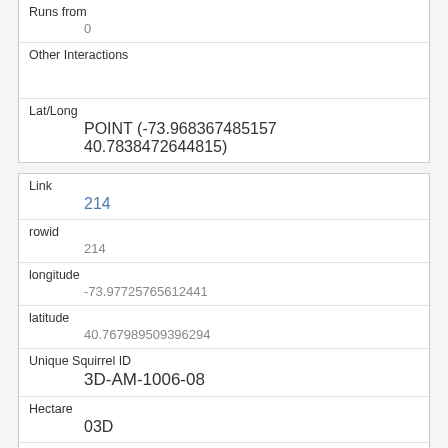| Runs from |  |
|  | 0 |
| Other Interactions |  |
|  |  |
| Lat/Long |  |
|  | POINT (-73.968367485157 40.7838472644815) |
| Link |  |
|  | 214 |
| rowid |  |
|  | 214 |
| longitude |  |
|  | -73.97725765612441 |
| latitude |  |
|  | 40.767989509396294 |
| Unique Squirrel ID |  |
|  | 3D-AM-1006-08 |
| Hectare |  |
|  | 03D |
| Shift |  |